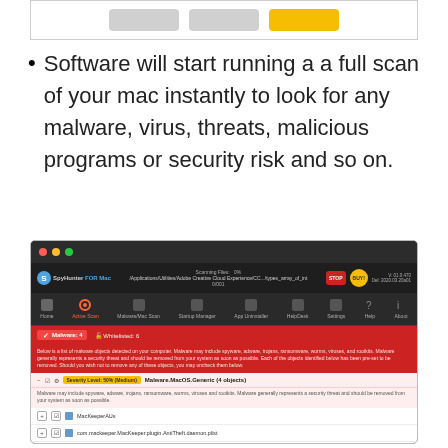[Figure (screenshot): Partial screenshot showing UI buttons with gray and yellow button elements at top of page]
Software will start running a a full scan of your mac instantly to look for any malware, virus, threats, malicious programs or security risk and so on.
[Figure (screenshot): SpyHunter for Mac application screenshot showing Active Scan results with Malware.MacOS.Generic (4 objects) detected at Severity Level 50% (Medium), listing MacKeeperAUs, com.mackeeper.MacKeeper.plugin.AntiTheft.daemon.plist, com.mackeeper.MacKeeper.MacKeeperPrivilegedHelper, and com.mackeeper.MacKeeper.MacKeeperPrivilegedHelper.plist]